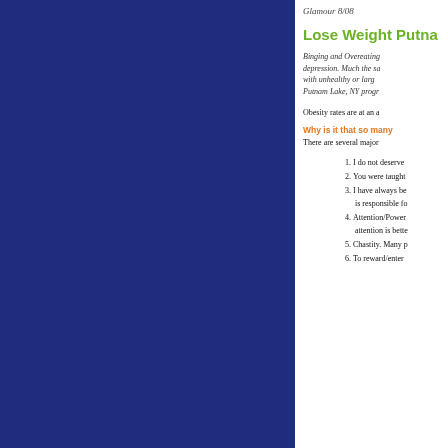[Figure (other): Dark navy blue rectangular panel occupying the left side of the page]
Glamour 8/08
Lose Weight Putna
Binging and Overeating depression. Much the sa with unhealthy or larg Putnam Lake, NY progr
Obesity rates are at an a
Why is it that so many
There are several major
1. I do not deserve
2. You were taught
3. I have always be is responsible fo
4. Attention/Power attention is bette
5. Chastity. Many p
6. To reward/enter